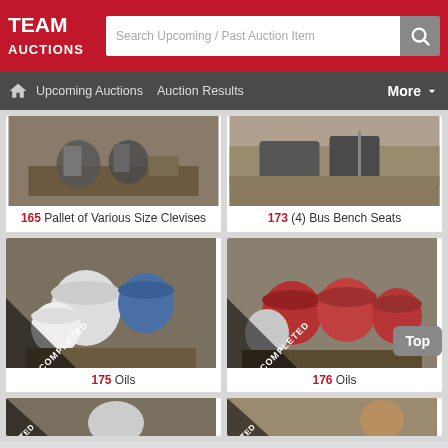TEAM AUCTIONS
Search Upcoming / Past Auction Items
Upcoming Auctions  Auction Results  More
[Figure (photo): Pallet of various size clevises on wooden pallet]
165 Pallet of Various Size Clevises
[Figure (photo): Bus bench seats outdoors]
173 (4) Bus Bench Seats
[Figure (photo): Pallet of various oil containers/buckets - COMPLETED]
175 Oils
[Figure (photo): Pallet of red/white oil buckets - COMPLETED]
176 Oils
[Figure (photo): Partial view of auction item - COMPLETED (bottom row left)]
[Figure (photo): Partial view of auction item - COMPLETED (bottom row right)]